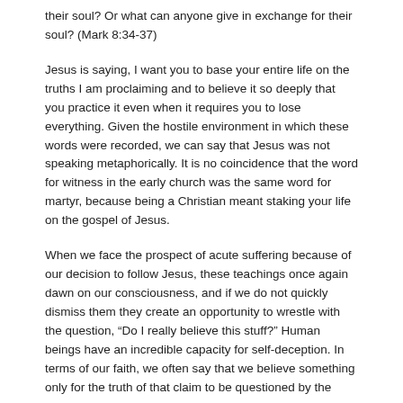their soul? Or what can anyone give in exchange for their soul? (Mark 8:34-37)
Jesus is saying, I want you to base your entire life on the truths I am proclaiming and to believe it so deeply that you practice it even when it requires you to lose everything. Given the hostile environment in which these words were recorded, we can say that Jesus was not speaking metaphorically. It is no coincidence that the word for witness in the early church was the same word for martyr, because being a Christian meant staking your life on the gospel of Jesus.
When we face the prospect of acute suffering because of our decision to follow Jesus, these teachings once again dawn on our consciousness, and if we do not quickly dismiss them they create an opportunity to wrestle with the question, “Do I really believe this stuff?” Human beings have an incredible capacity for self-deception. In terms of our faith, we often say that we believe something only for the truth of that claim to be questioned by the